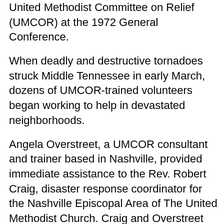United Methodist Committee on Relief (UMCOR) at the 1972 General Conference.
When deadly and destructive tornadoes struck Middle Tennessee in early March, dozens of UMCOR-trained volunteers began working to help in devastated neighborhoods.
Angela Overstreet, a UMCOR consultant and trainer based in Nashville, provided immediate assistance to the Rev. Robert Craig, disaster response coordinator for the Nashville Episcopal Area of The United Methodist Church. Craig and Overstreet met with other agencies in the area to begin coordinating response efforts.
“Our trained early response team members have